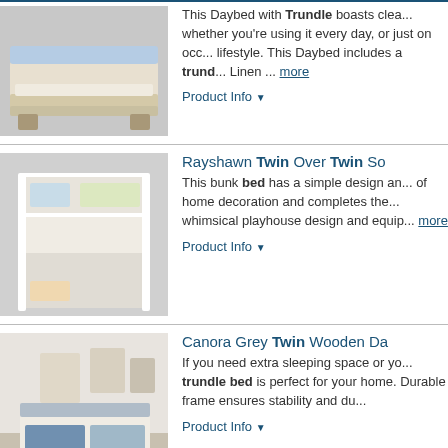[Figure (photo): Daybed with trundle product photo]
This Daybed with Trundle boasts clean lines whether you're using it every day, or just on occasion. Fits any lifestyle. This Daybed includes a trund... Linen ... more
Product Info ▼
[Figure (photo): Rayshawn Twin Over Twin bunk bed product photo]
Rayshawn Twin Over Twin So...
This bunk bed has a simple design and completes the style of home decoration and completes the whimsical playhouse design and equip... more
Product Info ▼
[Figure (photo): Canora Grey Twin Wooden Daybed product photo]
Canora Grey Twin Wooden Da...
If you need extra sleeping space or yo... trundle bed is perfect for your home. Durable frame ensures stability and du...
Product Info ▼
[Figure (photo): Red Barrel Studio Full Size Daybed product photo]
Red Barrel Studio® Full Size D...
Red Barrel Studio® Full Size Daybed... Coffee Size: Full/Double, Color: White Twin Size Trundle Wood Daybed,Coff... 78.6 D in | Wayfair ... more
Product Info ▼
[Figure (photo): Red Barrel Studio Twin Bunk product photo]
Red Barrel Studio® Twin Bun...